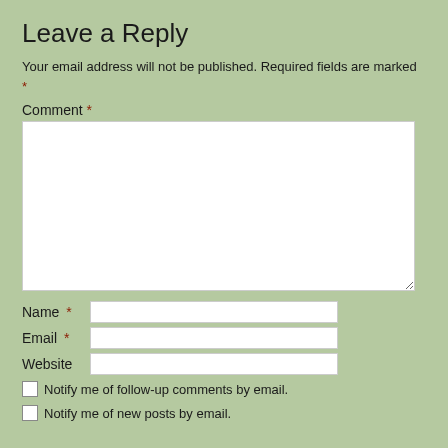Leave a Reply
Your email address will not be published. Required fields are marked *
Comment *
Name *
Email *
Website
Notify me of follow-up comments by email.
Notify me of new posts by email.